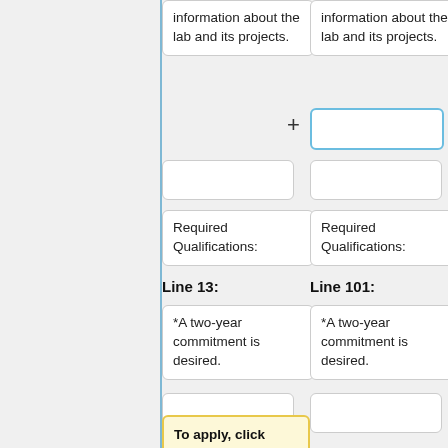information about the lab and its projects.
information about the lab and its projects.
Required Qualifications:
Required Qualifications:
Line 13:
Line 101:
*A two-year commitment is desired.
*A two-year commitment is desired.
To apply, click [https://wd1.myworkdaysite.com/en-US/recruiting/upenn/careers-